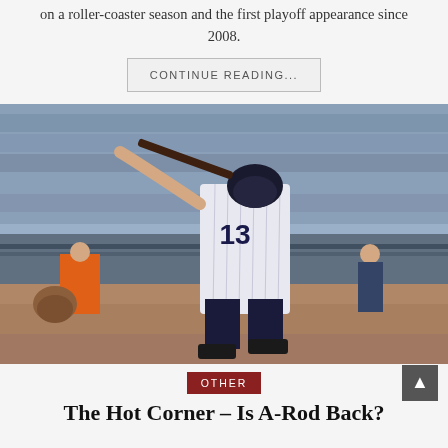on a roller-coaster season and the first playoff appearance since 2008.
CONTINUE READING...
[Figure (photo): Baseball player wearing New York Yankees uniform number 13 swinging a bat, with crowd and dugout visible in the background at a stadium.]
OTHER
The Hot Corner – Is A-Rod Back?